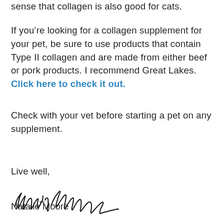sense that collagen is also good for cats.
If you’re looking for a collagen supplement for your pet, be sure to use products that contain Type II collagen and are made from either beef or pork products. I recommend Great Lakes. Click here to check it out.
Check with your vet before starting a pet on any supplement.
Live well,
[Figure (illustration): Handwritten cursive signature reading Natalie Moore]
Natalie Moore